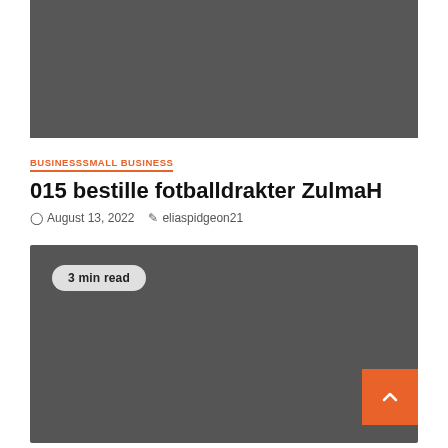[Figure (photo): Dark gray rectangle representing a header image placeholder]
BUSINESSSMALL BUSINESS
015 bestille fotballdrakter ZulmaH
August 13, 2022   eliaspidgeon21
[Figure (photo): Dark gray rectangle representing an article image with a '3 min read' badge overlay and an orange scroll-to-top button]